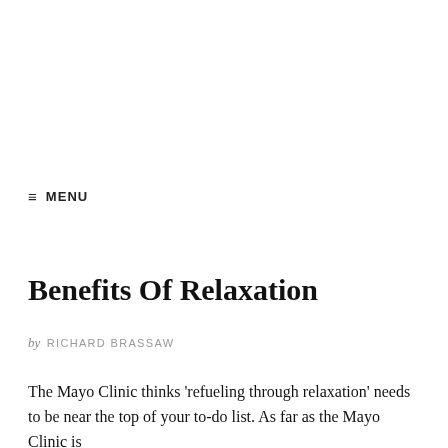≡ MENU
Benefits Of Relaxation
by RICHARD BRASSAW
The Mayo Clinic thinks 'refueling through relaxation' needs to be near the top of your to-do list. As far as the Mayo Clinic is concerned, relaxation is vital because that...